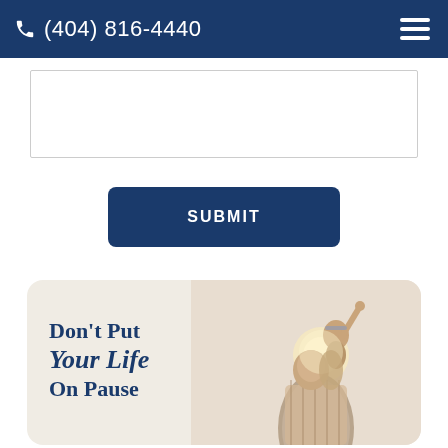(404) 816-4440
[Figure (other): Text input / form field area (empty white rectangle with border)]
SUBMIT
[Figure (photo): Promotional banner card with a father holding a child on his shoulders, child pointing upward, with text 'Don't Put Your Life On Pause' overlaid on a warm beige background]